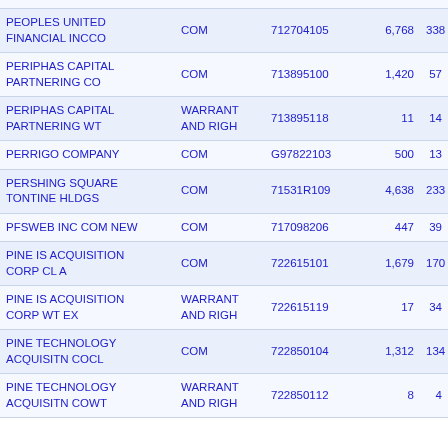| Name | Type | CUSIP | Shares | Value |
| --- | --- | --- | --- | --- |
| PEOPLES UNITED FINANCIAL INCCO | COM | 712704105 | 6,768 | 338 |
| PERIPHAS CAPITAL PARTNERING CO | COM | 713895100 | 1,420 | 57 |
| PERIPHAS CAPITAL PARTNERING WT | WARRANT AND RIGH | 713895118 | 11 | 14 |
| PERRIGO COMPANY | COM | G97822103 | 500 | 13 |
| PERSHING SQUARE TONTINE HLDGS | COM | 71531R109 | 4,638 | 233 |
| PFSWEB INC COM NEW | COM | 717098206 | 447 | 39 |
| PINE IS ACQUISITION CORP CL A | COM | 722615101 | 1,679 | 170 |
| PINE IS ACQUISITION CORP WT EX | WARRANT AND RIGH | 722615119 | 17 | 34 |
| PINE TECHNOLOGY ACQUISITN COCL | COM | 722850104 | 1,312 | 134 |
| PINE TECHNOLOGY ACQUISITN COWT | WARRANT AND RIGH | 722850112 | 8 | 4 |